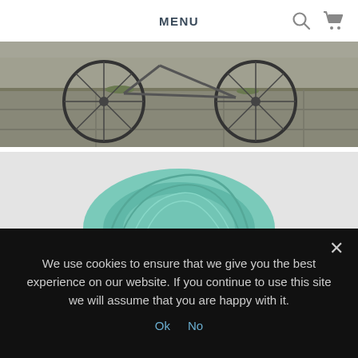MENU
[Figure (photo): Partial view of bicycles parked on stone ground, showing wheels and frames, top portion cropped]
Louise used her unicorn sock base yarn for the project, which is a mix of 70% Bluefaced Leicester and 30% nylon, giving approximately 400m of woolly goodness! Here’s the finished product, entitled ‘Lichen Licked’.
[Figure (photo): Skein of teal/mint coloured yarn on a light grey background, partially visible at bottom of page]
We use cookies to ensure that we give you the best experience on our website. If you continue to use this site we will assume that you are happy with it.
Ok   No